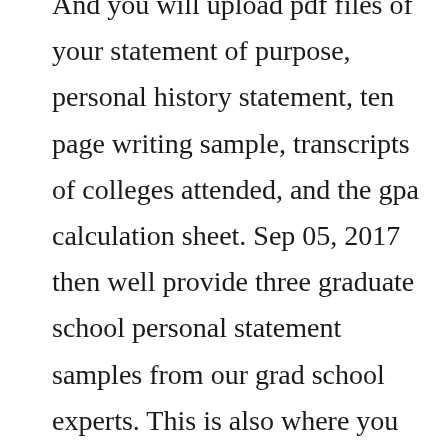And you will upload pdf files of your statement of purpose, personal history statement, ten page writing sample, transcripts of colleges attended, and the gpa calculation sheet. Sep 05, 2017 then well provide three graduate school personal statement samples from our grad school experts. This is also where you represent your potential to bring to your academic career a critical perspective rooted in a nontraditional educational background, or your understanding of the. In your personal statement, you should also talk